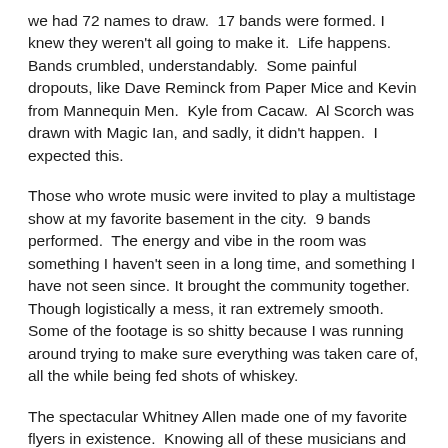we had 72 names to draw.  17 bands were formed. I knew they weren't all going to make it.  Life happens.  Bands crumbled, understandably.  Some painful dropouts, like Dave Reminck from Paper Mice and Kevin from Mannequin Men.  Kyle from Cacaw.  Al Scorch was drawn with Magic Ian, and sadly, it didn't happen.  I expected this.
Those who wrote music were invited to play a multistage show at my favorite basement in the city.  9 bands performed.  The energy and vibe in the room was something I haven't seen in a long time, and something I have not seen since. It brought the community together.  Though logistically a mess, it ran extremely smooth.  Some of the footage is so shitty because I was running around trying to make sure everything was taken care of, all the while being fed shots of whiskey.
The spectacular Whitney Allen made one of my favorite flyers in existence.  Knowing all of these musicians and what they've done, I had an idea of what they may be capable of, and the challenges faced in doing this project.  It's what got me so excited.  Would it be a disaster?  Surely, it could have